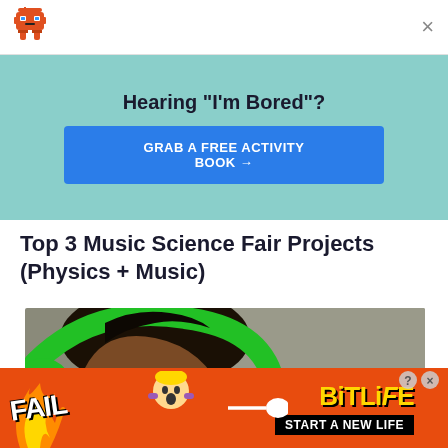[Figure (logo): Robot mascot icon (orange toy robot emoji) at top left of page header]
×
Hearing "I'm Bored"?
GRAB A FREE ACTIVITY BOOK →
Top 3 Music Science Fair Projects (Physics + Music)
[Figure (photo): Close-up of a person with dark hair wearing large green headphones, side profile view, against a grey background]
[Figure (illustration): BitLife advertisement banner: orange/red background with fire, 'FAIL' text, cartoon character, arrow and circle logo, 'BITLIFE' in gold letters, 'START A NEW LIFE' in black bar]